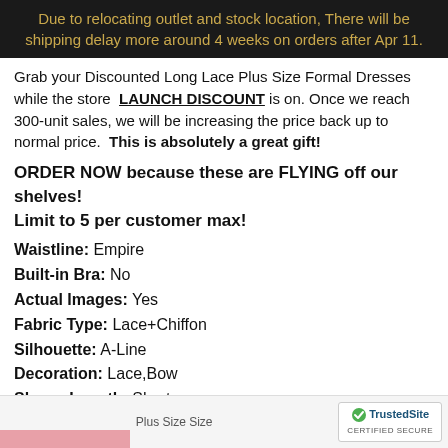Due to relocating outlet and stock location, There will be shipping delay more around 4 weeks on orders after Apr 11.
Grab your Discounted Long Lace Plus Size Formal Dresses while the store LAUNCH DISCOUNT is on. Once we reach 300-unit sales, we will be increasing the price back up to normal price. This is absolutely a great gift!
ORDER NOW because these are FLYING off our shelves! Limit to 5 per customer max!
Waistline: Empire
Built-in Bra: No
Actual Images: Yes
Fabric Type: Lace+Chiffon
Silhouette: A-Line
Decoration: Lace,Bow
Sleeve Length: Short
Sleeve Style: Tank
Neckline: Scoop
Back Style: Zipper
Plus Size Size
[Figure (other): TrustedSite certified secure badge with green checkmark]